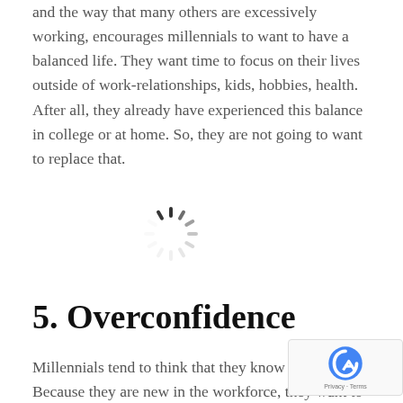and the way that many others are excessively working, encourages millennials to want to have a balanced life. They want time to focus on their lives outside of work-relationships, kids, hobbies, health. After all, they already have experienced this balance in college or at home. So, they are not going to want to replace that.
[Figure (other): A loading spinner icon (circular dashed/segmented spinner graphic)]
5. Overconfidence
Millennials tend to think that they know everything. Because they are new in the workforce, they want to set